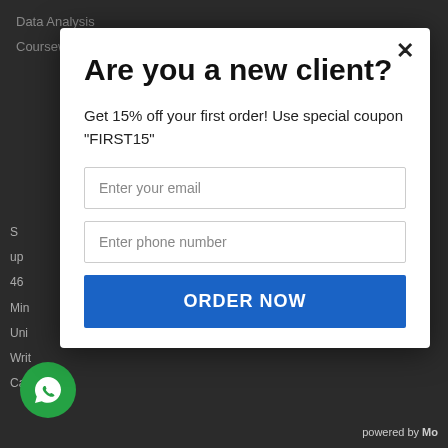Data Analysis
Coursework Help
S
up
46
Min
Uni
Writ
Call
Are you a new client?
Get 15% off your first order! Use special coupon "FIRST15"
Enter your email
Enter phone number
ORDER NOW
powered by Mo